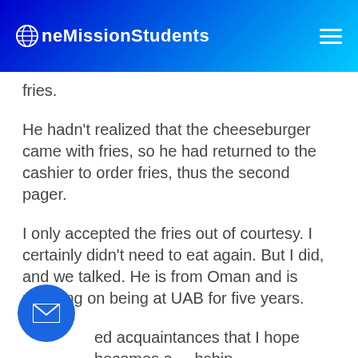OneMissionStudents
fries.
He hadn't realized that the cheeseburger came with fries, so he had returned to the cashier to order fries, thus the second pager.
I only accepted the fries out of courtesy. I certainly didn't need to eat again. But I did, and we talked. He is from Oman and is planning on being at UAB for five years.
ed acquaintances that I hope becomes a ship.